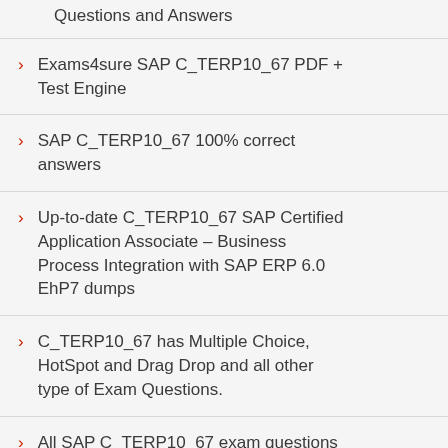Questions and Answers
Exams4sure SAP C_TERP10_67 PDF + Test Engine
SAP C_TERP10_67 100% correct answers
Up-to-date C_TERP10_67 SAP Certified Application Associate – Business Process Integration with SAP ERP 6.0 EhP7 dumps
C_TERP10_67 has Multiple Choice, HotSpot and Drag Drop and all other type of Exam Questions.
All SAP C_TERP10_67 exam questions are verified by our experts engineers.
We offer Free SAP C_TERP10_67